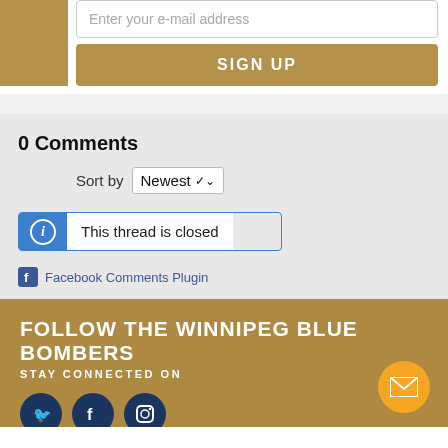[Figure (screenshot): Email signup form with gold box on left, email input field and SIGN UP button on right]
0 Comments
Sort by Newest
This thread is closed
Facebook Comments Plugin
FOLLOW THE WINNIPEG BLUE BOMBERS
STAY CONNECTED ON